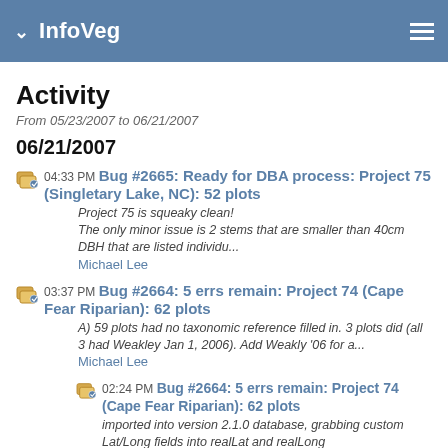InfoVeg
Activity
From 05/23/2007 to 06/21/2007
06/21/2007
04:33 PM Bug #2665: Ready for DBA process: Project 75 (Singletary Lake, NC): 52 plots
Project 75 is squeaky clean!
The only minor issue is 2 stems that are smaller than 40cm DBH that are listed individu...
Michael Lee
03:37 PM Bug #2664: 5 errs remain: Project 74 (Cape Fear Riparian): 62 plots
A) 59 plots had no taxonomic reference filled in. 3 plots did (all 3 had Weakley Jan 1, 2006). Add Weakly '06 for a...
Michael Lee
02:24 PM Bug #2664: 5 errs remain: Project 74 (Cape Fear Riparian): 62 plots
imported into version 2.1.0 database, grabbing custom Lat/Long fields into realLat and realLong
Michael Lee
12:16 PM Bug #2662: Unfolding: Project 64 (Brunswick Co, NC):